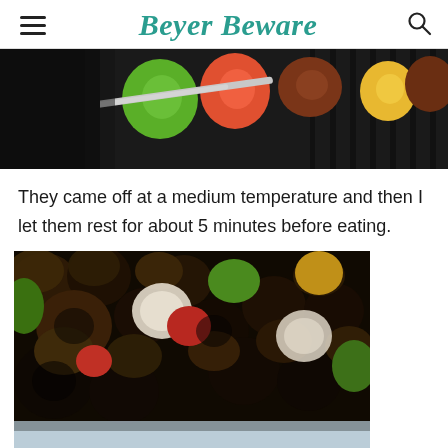Beyer Beware
[Figure (photo): Vegetable and meat kabobs on a grill with colorful peppers and skewers visible]
They came off at a medium temperature and then I let them rest for about 5 minutes before eating.
[Figure (photo): Grilled kabobs with mushrooms, onions, colorful peppers and meat pieces on a plate]